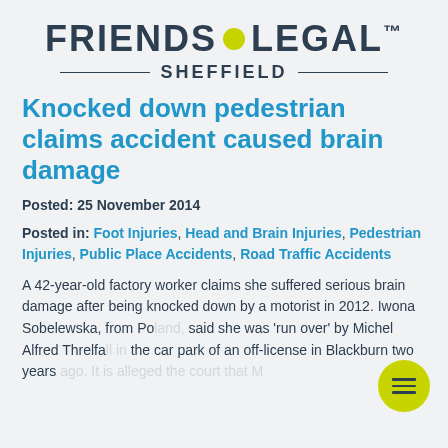[Figure (logo): Friends Legal logo with yellow dot between FRIENDS and LEGAL, trademark symbol, and SHEFFIELD subtitle with horizontal lines]
Knocked down pedestrian claims accident caused brain damage
Posted: 25 November 2014
Posted in: Foot Injuries, Head and Brain Injuries, Pedestrian Injuries, Public Place Accidents, Road Traffic Accidents
A 42-year-old factory worker claims she suffered serious brain damage after being knocked down by a motorist in 2012. Iwona Sobelewska, from Po... said she was 'run over' by Michel Alfred Threlfa... the car park of an off-license in Blackburn two years ...